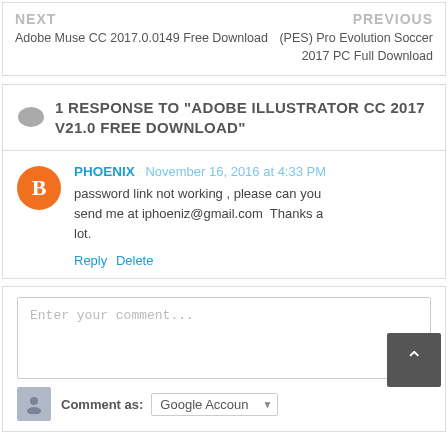NEXT
Adobe Muse CC 2017.0.0149 Free Download
PREVIOUS
(PES) Pro Evolution Soccer 2017 PC Full Download
1 RESPONSE TO "ADOBE ILLUSTRATOR CC 2017 V21.0 FREE DOWNLOAD"
PHOENIX  November 16, 2016 at 4:33 PM
password link not working , please can you send me at iphoeniz@gmail.com  Thanks a lot.
Reply  Delete
Enter your comment...
Comment as:  Google Accoun